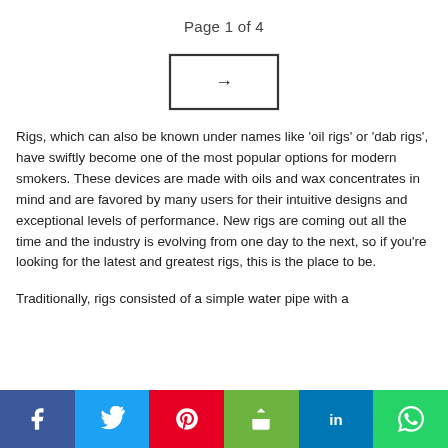Page 1 of 4
[Figure (other): Navigation button: a rectangle with a right-arrow (→) inside]
Rigs, which can also be known under names like 'oil rigs' or 'dab rigs', have swiftly become one of the most popular options for modern smokers. These devices are made with oils and wax concentrates in mind and are favored by many users for their intuitive designs and exceptional levels of performance. New rigs are coming out all the time and the industry is evolving from one day to the next, so if you're looking for the latest and greatest rigs, this is the place to be.
Traditionally, rigs consisted of a simple water pipe with a
[Figure (infographic): Social media share bar with Facebook, Twitter, Pinterest, Share, LinkedIn, and WhatsApp buttons]